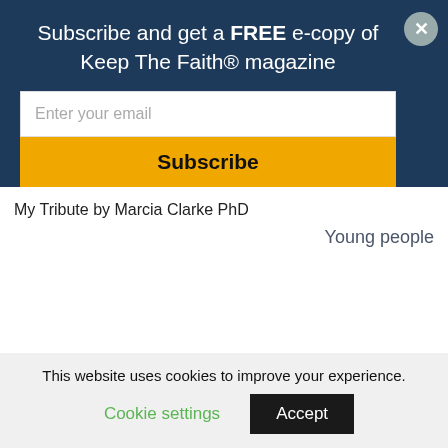Subscribe and get a FREE e-copy of Keep The Faith® magazine
Enter your email
Subscribe
My Tribute by Marcia Clarke PhD
Young people
This website uses cookies to improve your experience.
Cookie settings
Accept